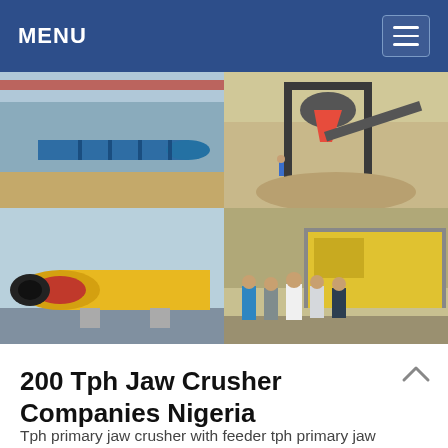MENU
[Figure (photo): Four-panel photo collage of mining and crushing equipment: top-left shows large blue cylindrical mill on a factory floor with red overhead crane; top-right shows a cone crusher and conveyor at an outdoor quarry site; bottom-left shows a yellow and red ball mill on the factory floor; bottom-right shows five workers posing in front of a large yellow jaw crusher machine at a quarry.]
200 Tph Jaw Crusher Companies Nigeria
Tph primary jaw crusher with feeder tph primary jaw crusher with feeder australia 200 tph stone crushing plant